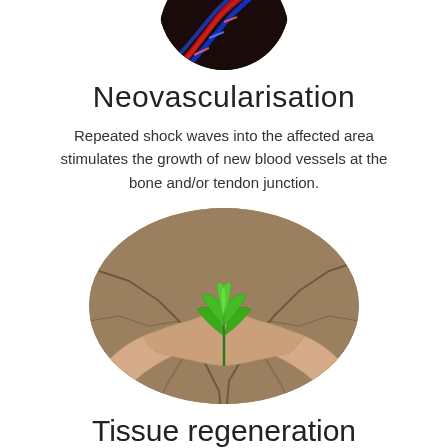[Figure (photo): Partial circular cropped photo at top showing red and blue DNA double helix strands on dark background]
Neovascularisation
Repeated shock waves into the affected area stimulates the growth of new blood vessels at the bone and/or tendon junction.
[Figure (photo): Circular cropped photo of two cupped hands holding a small green plant seedling over dry cracked earth]
Tissue regeneration